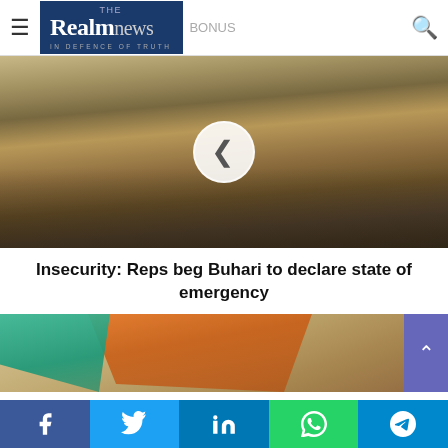The Realm News — In Defence of Truth
[Figure (photo): Group of people including adults and children standing in a dry field with dust and sparse trees in background; a white circle play button overlay is visible in the center]
Insecurity: Reps beg Buhari to declare state of emergency
[Figure (photo): Colorful fabric draping in orange, teal and other colors, partially visible at bottom of article listing]
Social share bar: Facebook, Twitter, LinkedIn, WhatsApp, Telegram